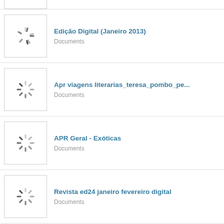Edição Digital (Janeiro 2013)
Documents
Apr viagens literarias_teresa_pombo_pe...
Documents
APR Geral - Exóticas
Documents
Revista ed24 janeiro fevereiro digital
Documents
View More >